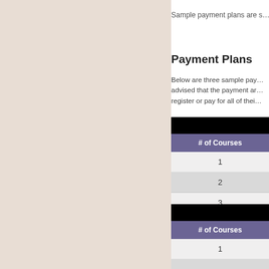Sample payment plans are s…
Payment Plans
Below are three sample pay… advised that the payment ar… register or pay for all of thei…
| # of Courses |
| --- |
| 1 |
| 2 |
| 3 |
| # of Courses |
| --- |
| 1 |
| 2 |